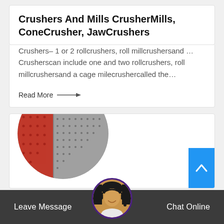Crushers And Mills CrusherMills, ConeCrusher, JawCrushers
Crushers– 1 or 2 rollcrushers, roll millcrushersand …Crusherscan include one and two rollcrushers, roll millcrushersand a cage milecrushercalled the…
Read More →
[Figure (photo): Industrial drum/mill machine, circular crop, red and grey metallic surface with dots/perforations]
[Figure (photo): Customer support avatar with headset, circular crop with purple border]
Leave Message    Chat Online